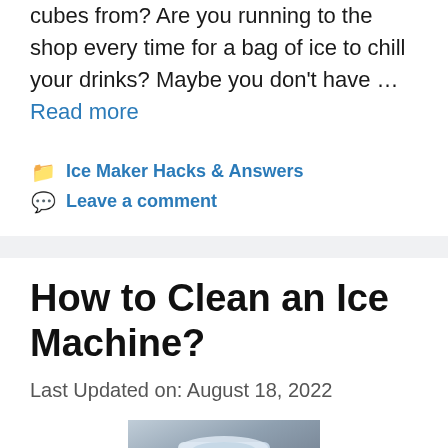cubes from? Are you running to the shop every time for a bag of ice to chill your drinks? Maybe you don't have … Read more
Ice Maker Hacks & Answers
Leave a comment
How to Clean an Ice Machine?
Last Updated on: August 18, 2022
[Figure (photo): Photo of a countertop ice machine, white/silver colored, with a transparent lid, placed on a wooden surface]